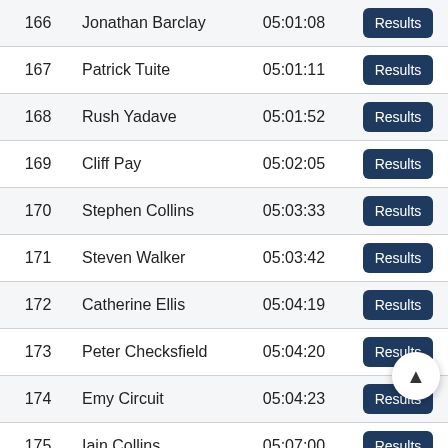| Rank | Name | Time | Action |
| --- | --- | --- | --- |
| 166 | Jonathan Barclay | 05:01:08 | Results |
| 167 | Patrick Tuite | 05:01:11 | Results |
| 168 | Rush Yadave | 05:01:52 | Results |
| 169 | Cliff Pay | 05:02:05 | Results |
| 170 | Stephen Collins | 05:03:33 | Results |
| 171 | Steven Walker | 05:03:42 | Results |
| 172 | Catherine Ellis | 05:04:19 | Results |
| 173 | Peter Checksfield | 05:04:20 | Results |
| 174 | Emy Circuit | 05:04:23 | Results |
| 175 | Iain Collins | 05:07:00 | Results |
| 176 | Robert Whitehead | 05:07:01 | Results |
| 177 | Bethan Gane | 05:07:08 | Results |
| 178 | Akin Gibson | 05:07:37 | Re... |